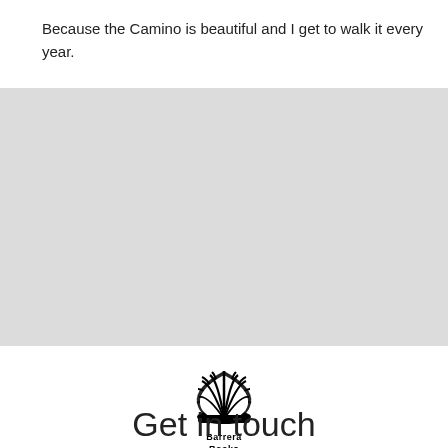Because the Camino is beautiful and I get to walk it every year.
[Figure (photo): Gray placeholder image block occupying full width]
[Figure (logo): Barrera Books logo: stylized shell/fan shape in black above the text 'Barrera Books']
Get in touch